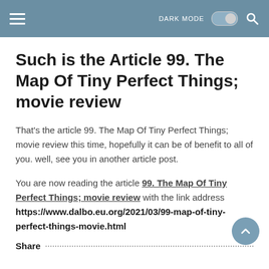DARK MODE [toggle] [search]
Such is the Article 99. The Map Of Tiny Perfect Things; movie review
That's the article 99. The Map Of Tiny Perfect Things; movie review this time, hopefully it can be of benefit to all of you. well, see you in another article post.
You are now reading the article 99. The Map Of Tiny Perfect Things; movie review with the link address https://www.dalbo.eu.org/2021/03/99-map-of-tiny-perfect-things-movie.html
Share